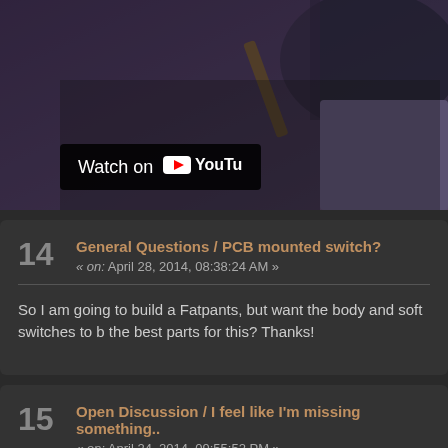[Figure (screenshot): YouTube video thumbnail showing a guitar and a person, with a 'Watch on YouTube' badge overlay]
General Questions / PCB mounted switch?
« on: April 28, 2014, 08:38:24 AM »
So I am going to build a Fatpants, but want the body and soft switches to b... the best parts for this? Thanks!
Open Discussion / I feel like I'm missing something..
« on: April 24, 2014, 09:55:52 PM »
So my signal chain goes like this:

Crybaby
Analogman KoT clone
Cosmopolitan
Sea Urchin
Amp